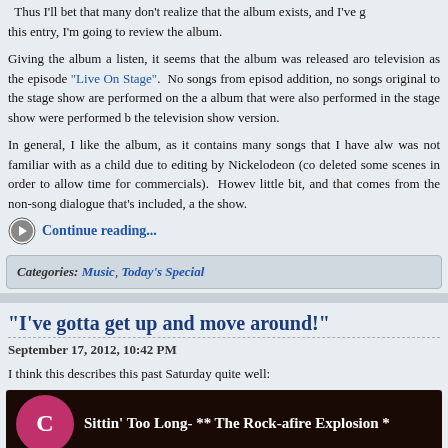Thus I'll bet that many don't realize that the album exists, and I've decided that in this entry, I'm going to review the album.
Giving the album a listen, it seems that the album was released around the same time as the television as the episode "Live On Stage". No songs from episode are on the album. In addition, no songs original to the stage show are performed on the album. Songs on the album that were also performed in the stage show were performed but in a different way than the television show version.
In general, I like the album, as it contains many songs that I have always enjoyed but was not familiar with as a child due to editing by Nickelodeon (co deleted some scenes in order to allow time for commercials). However, it bugs me a little bit, and that comes from the non-song dialogue that's included, as it comes from the show.
Continue reading...
Categories: Music, Today's Special
“I’ve gotta get up and move around!”
September 17, 2012, 10:42 PM
I think this describes this past Saturday quite well:
[Figure (screenshot): Media player screenshot showing a pink circle with letter C and text 'Sittin' Too Long- ** The Rock-afire Explosion *' on dark background]